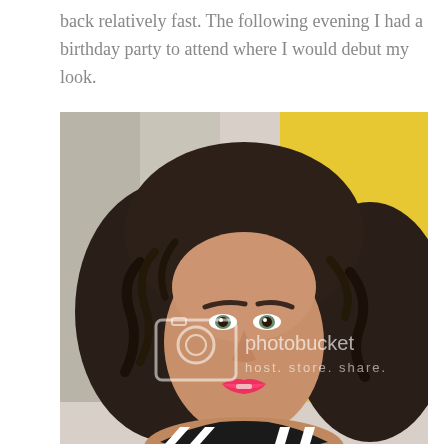back relatively fast. The following evening I had a birthday party to attend where I would debut my look.
[Figure (photo): Selfie of a young woman with curly dark hair, light eyes, and bright pink lipstick wearing a black and white striped top, standing in front of a yellow wall. Image has a Photobucket watermark.]